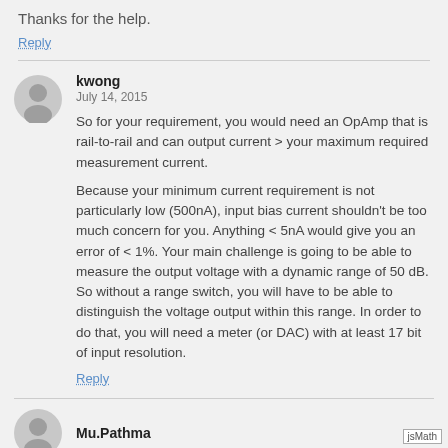Thanks for the help.
Reply
kwong
July 14, 2015
So for your requirement, you would need an OpAmp that is rail-to-rail and can output current > your maximum required measurement current.
Because your minimum current requirement is not particularly low (500nA), input bias current shouldn't be too much concern for you. Anything < 5nA would give you an error of < 1%. Your main challenge is going to be able to measure the output voltage with a dynamic range of 50 dB. So without a range switch, you will have to be able to distinguish the voltage output within this range. In order to do that, you will need a meter (or DAC) with at least 17 bit of input resolution.
Reply
Mu.Pathma